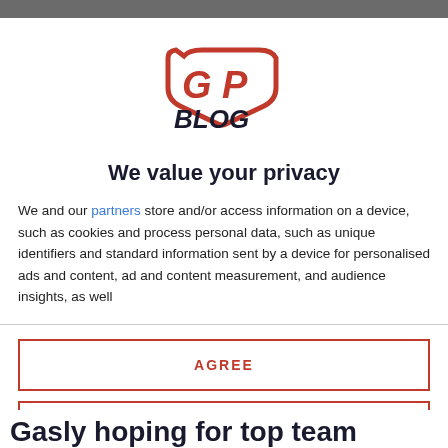[Figure (logo): GP Blog logo — red stylized 'GP' letters above bold dark navy 'BLOG' text]
We value your privacy
We and our partners store and/or access information on a device, such as cookies and process personal data, such as unique identifiers and standard information sent by a device for personalised ads and content, ad and content measurement, and audience insights, as well
AGREE
MORE OPTIONS
Gasly hoping for top team